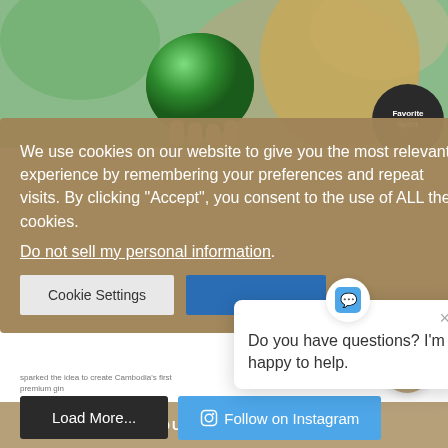[Figure (photo): Woman holding a green spherical object (lime or green ornament) close to her face, with a dark background. A badge reading 'Favorite Spirit' appears in the bottom right of the image.]
We use cookies on our website to give you the most relevant experience by remembering your preferences and repeat visits. By clicking "Accept", you consent to the use of ALL the cookies.
Do not sell my personal information.
Cookie Settings
Do you have questions? I'm happy to help.
sparked the idea to create Cambodia's first premium gin
Load More...
Follow on Instagram
WHICH PRODUCT IS RIGHT FOR ME? →